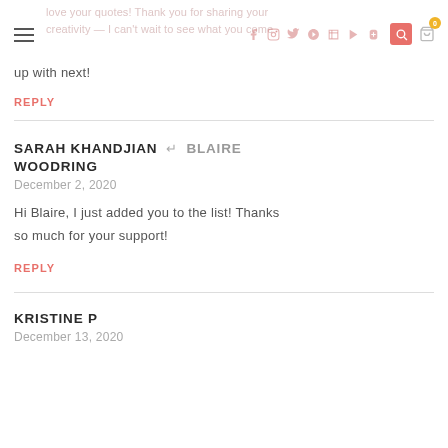love your quotes! Thank you for sharing your creativity — I can't wait to see what you come up with next!
up with next!
REPLY
SARAH KHANDJIAN → BLAIRE WOODRING
December 2, 2020
Hi Blaire, I just added you to the list! Thanks so much for your support!
REPLY
KRISTINE P
December 13, 2020